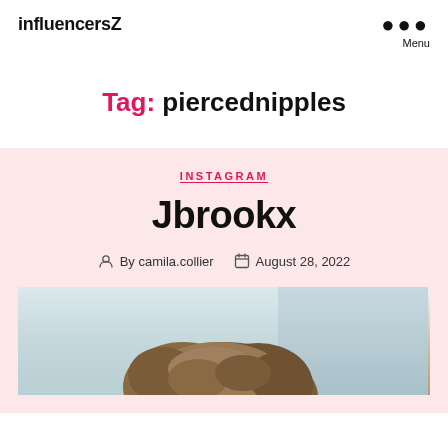influencersZ
Tag: piercednipples
INSTAGRAM
Jbrookx
By camila.collier   August 28, 2022
[Figure (photo): Photo of a person with curly brown hair viewed from above, light blue/grey background]